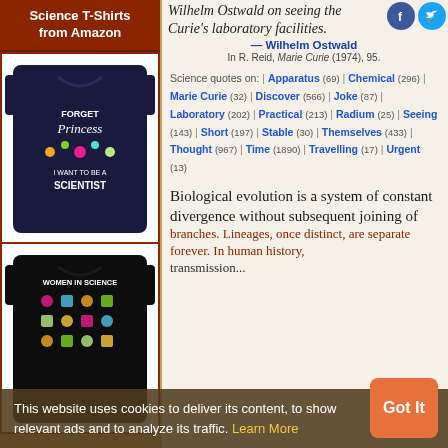[Figure (photo): Science T-Shirts from Amazon banner with two t-shirt product images — first a navy blue shirt saying 'Forget Princess I Want To Be A Scientist' with science icons, second a black shirt with 'Women In Science' design]
Wilhelm Ostwald on seeing the Curie's laboratory facilities.
— Wilhelm Ostwald
In R. Reid, Marie Curie (1974), 95.
Science quotes on: | Apparatus (69) | Chemical (296) | Marie Curie (32) | Discover (566) | Joke (87) | Laboratory (202) | Practical (213) | Radium (25) | Seeing (143) | Short (197) | Stable (30) | Themselves (433) | Thought (967) | Time (1890) | Travelling (17) | Urgent (13)
Biological evolution is a system of constant divergence without subsequent joining of branches. Lineages, once distinct, are separate forever. In human history, transmission...
This website uses cookies to deliver its content, to show relevant ads and to analyze its traffic. Learn More